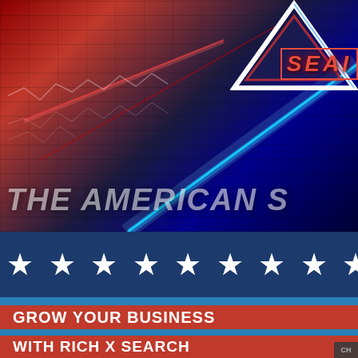[Figure (illustration): Promotional banner for Rich X Search / The American Search engine. Top section shows a dark red and blue brick wall background with glowing laser beams (cyan and red), a triangular logo in top right, and 'SEAI' text in red. Large semi-transparent italic text reads 'THE AMERICAN S'. Below is a dark blue stars banner with white stars (★ ★ ★ ★ ★ ★ ★ ★ ★ ★). Then alternating blue and red stripe bands reading 'GROW YOUR BUSINESS' and 'WITH RICH X SEARCH'.]
THE AMERICAN S
★ ★ ★ ★ ★ ★ ★ ★ ★ ★
GROW YOUR BUSINESS
WITH RICH X SEARCH